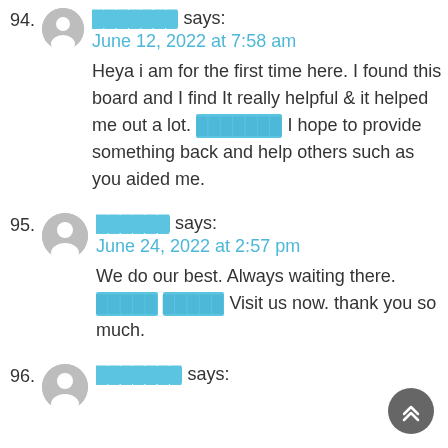94. [redacted] says: June 12, 2022 at 7:58 am Heya i am for the first time here. I found this board and I find It really helpful & it helped me out a lot. [redacted] I hope to provide something back and help others such as you aided me.
95. [redacted] says: June 24, 2022 at 2:57 pm We do our best. Always waiting there. [redacted] [redacted] Visit us now. thank you so much.
96. [redacted] says: